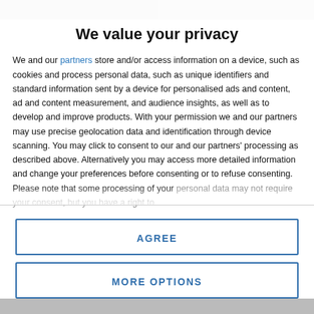[Figure (photo): Two partially visible photos at the top of the page behind a privacy modal overlay]
We value your privacy
We and our partners store and/or access information on a device, such as cookies and process personal data, such as unique identifiers and standard information sent by a device for personalised ads and content, ad and content measurement, and audience insights, as well as to develop and improve products. With your permission we and our partners may use precise geolocation data and identification through device scanning. You may click to consent to our and our partners' processing as described above. Alternatively you may access more detailed information and change your preferences before consenting or to refuse consenting. Please note that some processing of your personal data may not require your consent, but you have a right to
AGREE
MORE OPTIONS
[Figure (photo): Partially visible photos at the bottom of the page behind the modal overlay]